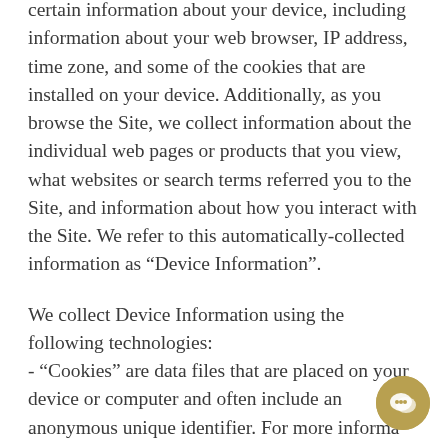certain information about your device, including information about your web browser, IP address, time zone, and some of the cookies that are installed on your device. Additionally, as you browse the Site, we collect information about the individual web pages or products that you view, what websites or search terms referred you to the Site, and information about how you interact with the Site. We refer to this automatically-collected information as “Device Information”.
We collect Device Information using the following technologies:
- “Cookies” are data files that are placed on your device or computer and often include an anonymous unique identifier. For more information about cookies, and how to disable cookies, visit
[Figure (other): Gold/yellow circular chat button icon in the bottom-right corner of the page]